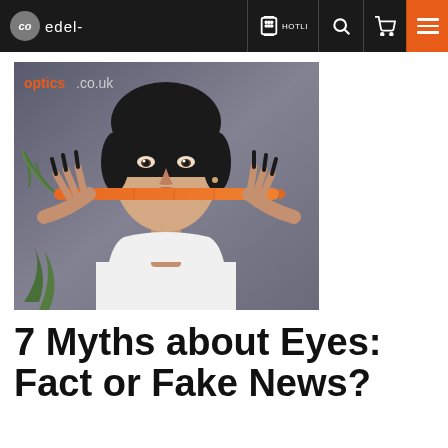co edel- HOTLI
[Figure (photo): Woman holding a carrot horizontally under her nose like a mustache, wearing a white sleeveless top, with dark background; watermark 'optics.co.uk' in top left]
7 Myths about Eyes: Fact or Fake News?